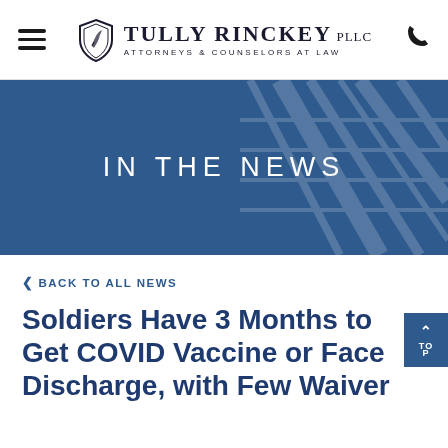Tully Rinckey PLLC — Attorneys & Counselors at Law
[Figure (infographic): Hero banner with dark blue background and semi-transparent architectural/courthouse image overlay, text 'IN THE NEWS' centered in white uppercase letters]
< BACK TO ALL NEWS
Soldiers Have 3 Months to Get COVID Vaccine or Face Discharge, with Few Waiver